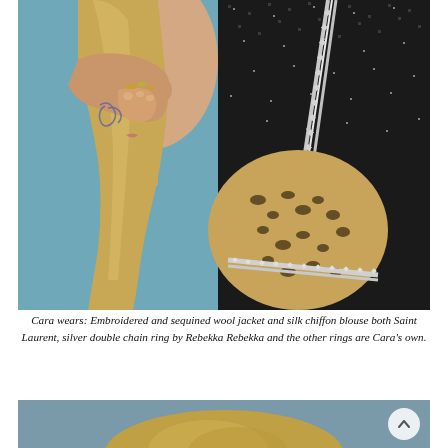[Figure (photo): Close-up fashion photograph of a young woman (Cara) in profile, resting her chin on her hand. She wears an embroidered and sequined black wool jacket with leopard-print silk chiffon blouse with rhinestone/crystal chain trim detail. She has long blonde hair, a tattoo on her wrist/hand, and multiple rings. Background is light blue.]
Cara wears: Embroidered and sequined wool jacket and silk chiffon blouse both Saint Laurent, silver double chain ring by Rebekka Rebekka and the other rings are Cara's own.
[Figure (photo): Partial view of a second fashion photograph showing the top of the model's head with blonde hair against a blue-grey background.]